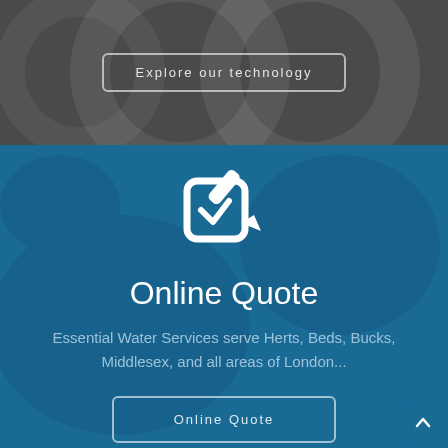Explore our technology
[Figure (illustration): White edit/write icon (square with pen) on blue background]
Online Quote
Essential Water Services serve Herts, Beds, Bucks, Middlesex, and all areas of London...
Online Quote